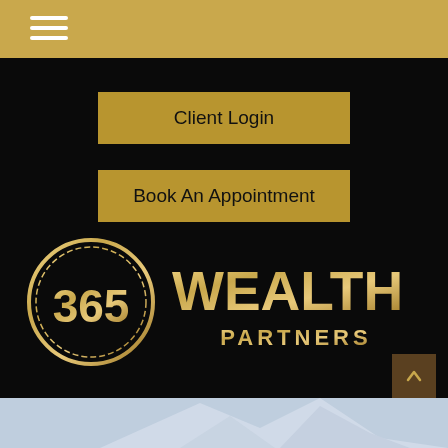[Figure (logo): Gold top navigation bar with hamburger menu icon (three white horizontal lines) on left side]
Client Login
Book An Appointment
[Figure (logo): 365 Wealth Partners logo — circular gold emblem with '365' inside and 'WEALTH PARTNERS' text to the right, all in gold on black background]
[Figure (photo): Mountain peak photo with light blue sky background, visible at bottom of page]